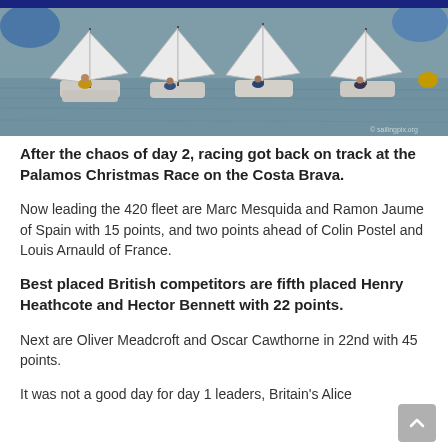[Figure (photo): Sailing boats with white sails competing at the Palamos Christmas Race on the Costa Brava, with multiple dinghies on grey water.]
After the chaos of day 2, racing got back on track at the Palamos Christmas Race on the Costa Brava.
Now leading the 420 fleet are Marc Mesquida and Ramon Jaume of Spain with 15 points, and two points ahead of Colin Postel and Louis Arnauld of France.
Best placed British competitors are fifth placed Henry Heathcote and Hector Bennett with 22 points.
Next are Oliver Meadcroft and Oscar Cawthorne in 22nd with 45 points.
It was not a good day for day 1 leaders, Britain's Alice